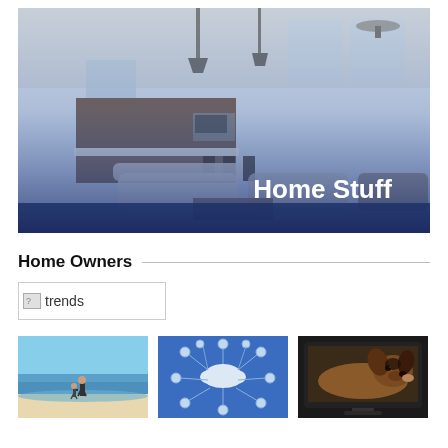[Figure (photo): Interior photo of a modern open-plan kitchen and living room with a ceiling fan, pendant lights, white sofas, and large windows. A blue gradient overlay covers the lower half. Text 'Home Stuff' appears in white bold font at the bottom right.]
Home Owners
[Figure (photo): A broken/missing image placeholder labeled 'trends']
[Figure (photo): Photo of a father and child walking on a beach at the water's edge]
[Figure (infographic): Blue background infographic showing a cloud computing / IoT network diagram with various device icons connected to a central cloud]
[Figure (photo): Photo of a dog resting its head on or near a flat-screen television set]